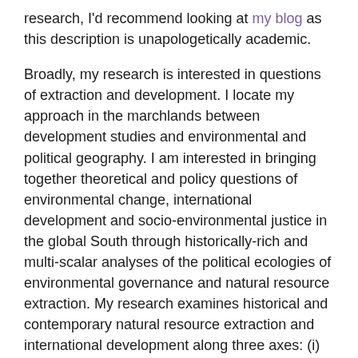research, I'd recommend looking at my blog as this description is unapologetically academic.
Broadly, my research is interested in questions of extraction and development. I locate my approach in the marchlands between development studies and environmental and political geography. I am interested in bringing together theoretical and policy questions of environmental change, international development and socio-environmental justice in the global South through historically-rich and multi-scalar analyses of the political ecologies of environmental governance and natural resource extraction. My research examines historical and contemporary natural resource extraction and international development along three axes: (i) transnational environmental governance and international development, (ii) The political ecology of natural resource extraction in Africa and Latin America and (iii) the historical and contemporary geographies of colonialism in Africa.
The current focus of my research is the processes, policies and institutions through which environmental change in the global South is constituted and its consequences for